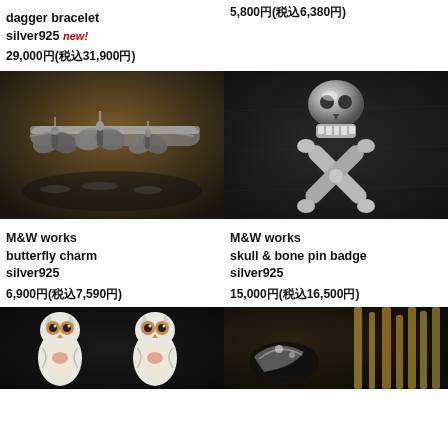dagger bracelet silver925 NEW!
29,000円(税込31,900円)
5,800円(税込6,380円)
[Figure (photo): Close-up photo of M&W works butterfly charm bracelet in silver925, showing multiple bat/butterfly charm pendants on a silver chain against a dark background]
[Figure (photo): Close-up photo of M&W works skull & bone pin badge in silver925, showing a skull and crossbones design on black leather]
M&W works butterfly charm silver925
6,900円(税込7,590円)
M&W works skull & bone pin badge silver925
15,000円(税込16,500円)
[Figure (photo): Partial photo of owl-themed items, showing two white owl figures with orange eyes on a dark background]
[Figure (photo): Partial photo of metal tools/accessories on a dark background with various metal items visible]